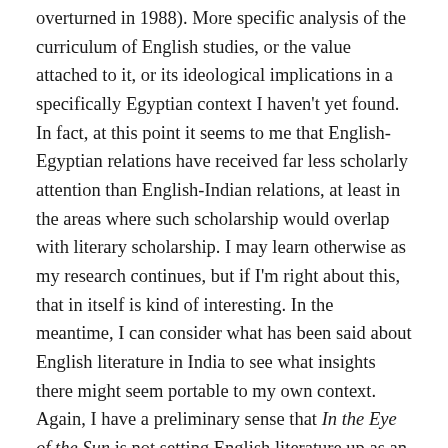overturned in 1988). More specific analysis of the curriculum of English studies, or the value attached to it, or its ideological implications in a specifically Egyptian context I haven't yet found. In fact, at this point it seems to me that English-Egyptian relations have received far less scholarly attention than English-Indian relations, at least in the areas where such scholarship would overlap with literary scholarship. I may learn otherwise as my research continues, but if I'm right about this, that in itself is kind of interesting. In the meantime, I can consider what has been said about English literature in India to see what insights there might seem portable to my own context. Again, I have a preliminary sense that In the Eye of the Sun is not setting English literature up as an antagonist or 'problematizing' English studies on political or nationalistic grounds, but everything I learn about how and why someone in Egypt would be reading Middlemarch is helfpul to my thinking.